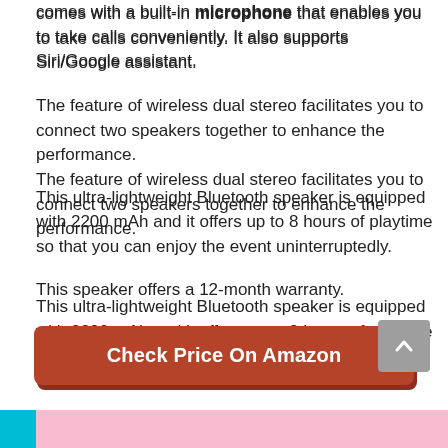comes with a built-in microphone that enables you to take calls conveniently. It also supports Siri/Google assistant.
The feature of wireless dual stereo facilitates you to connect two speakers together to enhance the performance.
This ultra-lightweight Bluetooth speaker is equipped with 2200 mAh and it offers up to 8 hours of playtime so that you can enjoy the event uninterruptedly.
This speaker offers a 12-month warranty.
Check Price On Amazon